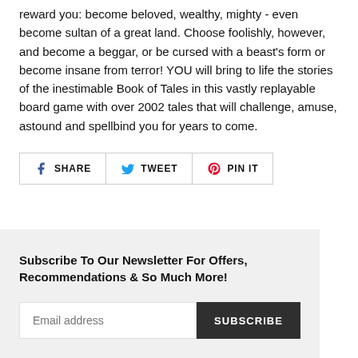reward you: become beloved, wealthy, mighty - even become sultan of a great land. Choose foolishly, however, and become a beggar, or be cursed with a beast's form or become insane from terror! YOU will bring to life the stories of the inestimable Book of Tales in this vastly replayable board game with over 2002 tales that will challenge, amuse, astound and spellbind you for years to come.
SHARE | TWEET | PIN IT
Subscribe To Our Newsletter For Offers, Recommendations & So Much More!
Email address | SUBSCRIBE